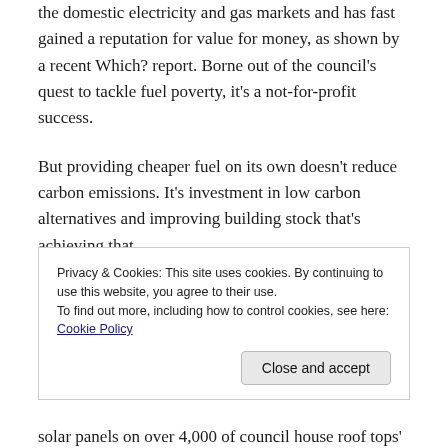the domestic electricity and gas markets and has fast gained a reputation for value for money, as shown by a recent Which? report. Borne out of the council's quest to tackle fuel poverty, it's a not-for-profit success.
But providing cheaper fuel on its own doesn't reduce carbon emissions. It's investment in low carbon alternatives and improving building stock that's achieving that.
It's no coincidence that Nottingham's carbon
Privacy & Cookies: This site uses cookies. By continuing to use this website, you agree to their use.
To find out more, including how to control cookies, see here: Cookie Policy
Close and accept
solar panels on over 4,000 of council house roof tops'